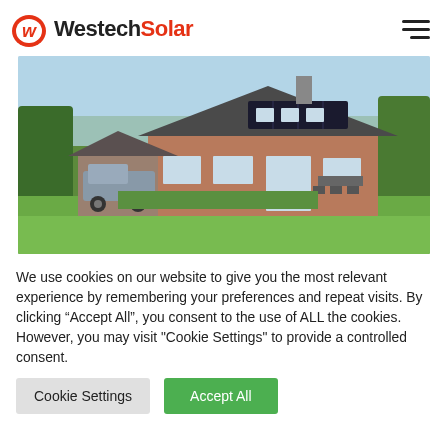WestechSolar
[Figure (photo): Aerial/front view of a residential house with solar panels on the roof, a pickup truck in the driveway, garden furniture on the patio, and lush green lawn and trees in the background.]
We use cookies on our website to give you the most relevant experience by remembering your preferences and repeat visits. By clicking “Accept All”, you consent to the use of ALL the cookies. However, you may visit "Cookie Settings" to provide a controlled consent.
Cookie Settings | Accept All